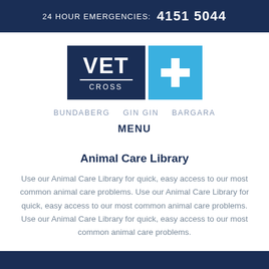24 HOUR EMERGENCIES: 4151 5044
[Figure (logo): Vet Cross logo with dark navy left panel showing VET CROSS text and a light blue right panel with a cross/plus symbol]
BUNDABERG    GIN GIN    BARGARA
MENU
Animal Care Library
Use our Animal Care Library for quick, easy access to our most common animal care problems. Use our Animal Care Library for quick, easy access to our most common animal care problems. Use our Animal Care Library for quick, easy access to our most common animal care problems.